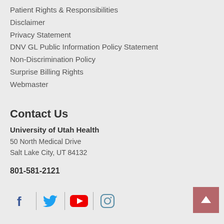Patient Rights & Responsibilities
Disclaimer
Privacy Statement
DNV GL Public Information Policy Statement
Non-Discrimination Policy
Surprise Billing Rights
Webmaster
Contact Us
University of Utah Health
50 North Medical Drive
Salt Lake City, UT 84132
801-581-2121
[Figure (other): Social media icons: Facebook, Twitter, YouTube, Instagram]